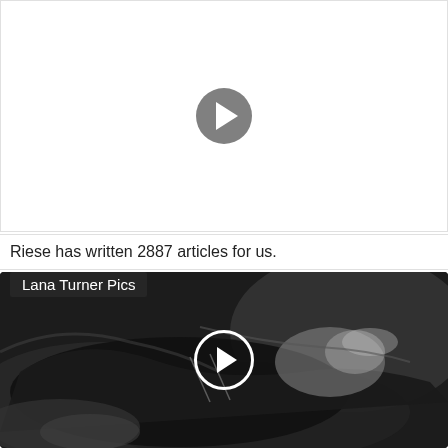[Figure (other): Video placeholder with gray play button on white background]
Riese has written 2887 articles for us.
[Figure (photo): Black and white photo of Lana Turner lying down, with a white play button overlay and label 'Lana Turner Pics' in the top left corner]